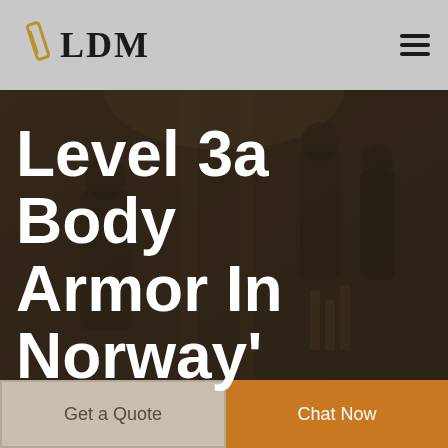LDM
Level 3a Body Armor In Norway'
[Figure (photo): Dark background hero image of people in a warehouse/industrial setting, heavily dimmed with a dark overlay]
Get a Quote
Chat Now